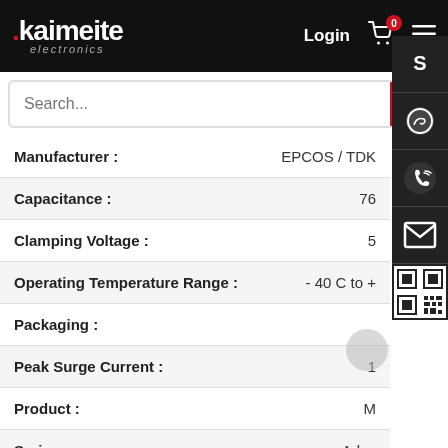[Figure (screenshot): Kaimeite Electronics website header with logo, Login button, cart icon with badge showing 0, and hamburger menu icon]
[Figure (screenshot): Search bar with placeholder 'Search...' and red search button]
| Attribute | Value |
| --- | --- |
| Manufacturer : | EPCOS / TDK |
| Capacitance : | 76 |
| Clamping Voltage : | 5… |
| Operating Temperature Range : | - 40 C to + … |
| Packaging : |  |
| Peak Surge Current : | 1… |
| Product : | M… |
| Series : | Adva… |
[Figure (screenshot): Right-side floating panel with Skype, WhatsApp, phone, email icons and QR code]